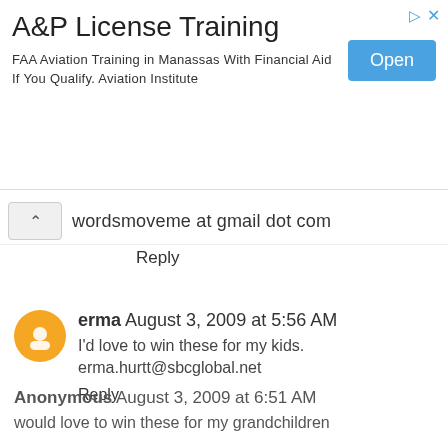[Figure (screenshot): Advertisement banner for A&P License Training. Title: 'A&P License Training'. Body: 'FAA Aviation Training in Manassas With Financial Aid If You Qualify. Aviation Institute'. Blue 'Open' button on right.]
wordsmoveme at gmail dot com
Reply
erma August 3, 2009 at 5:56 AM
I'd love to win these for my kids. erma.hurtt@sbcglobal.net
Reply
Anonymous August 3, 2009 at 6:51 AM
would love to win these for my grandchildren